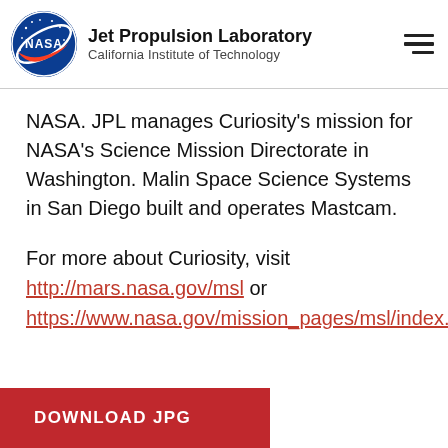Jet Propulsion Laboratory, California Institute of Technology
NASA. JPL manages Curiosity's mission for NASA's Science Mission Directorate in Washington. Malin Space Science Systems in San Diego built and operates Mastcam.
For more about Curiosity, visit http://mars.nasa.gov/msl or https://www.nasa.gov/mission_pages/msl/index.html.
DOWNLOAD JPG